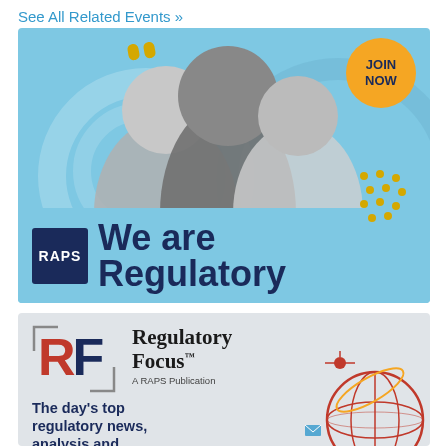See All Related Events »
[Figure (illustration): RAPS 'We are Regulatory' membership advertisement with photo of three professionals on light blue background, JOIN NOW badge, decorative yellow dots and circles, RAPS logo in navy box.]
[Figure (illustration): Regulatory Focus™ - A RAPS Publication advertisement on grey background with RF logo (red R, navy F in bracket frame), tagline 'The day's top regulatory news, analysis and intelligence' and circular globe illustration.]